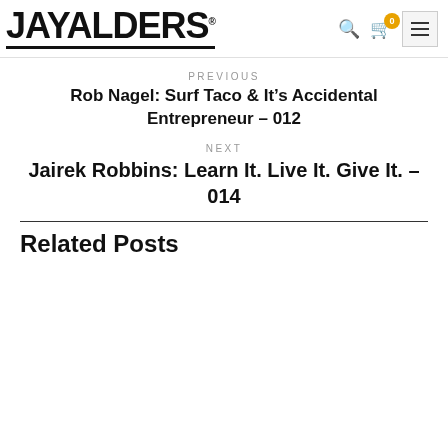JAYALDERS
PREVIOUS
Rob Nagel: Surf Taco & It’s Accidental Entrepreneur – 012
NEXT
Jairek Robbins: Learn It. Live It. Give It. – 014
Related Posts